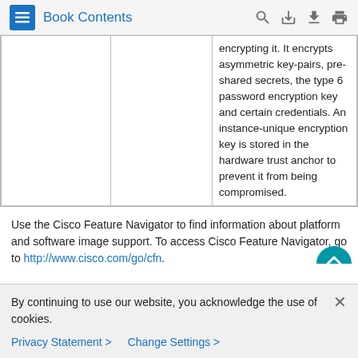Book Contents
|  |  | encrypting it. It encrypts asymmetric key-pairs, pre-shared secrets, the type 6 password encryption key and certain credentials. An instance-unique encryption key is stored in the hardware trust anchor to prevent it from being compromised. |
Use the Cisco Feature Navigator to find information about platform and software image support. To access Cisco Feature Navigator, go to http://www.cisco.com/go/cfn.
By continuing to use our website, you acknowledge the use of cookies.
Privacy Statement > Change Settings >